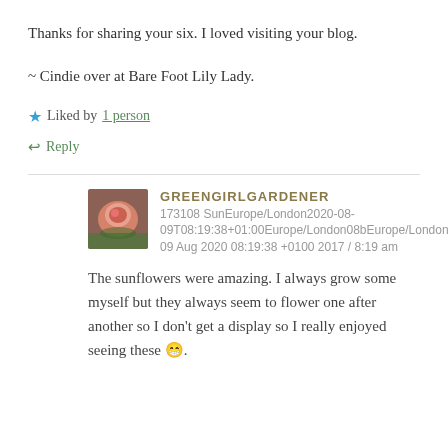Thanks for sharing your six. I loved visiting your blog.
~ Cindie over at Bare Foot Lily Lady.
★ Liked by 1 person
↩ Reply
GREENGIRLGARDENER
173108 SunEurope/London2020-08-09T08:19:38+01:00Europe/London08bEurope/LondonSun, 09 Aug 2020 08:19:38 +0100 2017 / 8:19 am
The sunflowers were amazing. I always grow some myself but they always seem to flower one after another so I don't get a display so I really enjoyed seeing these 😁.